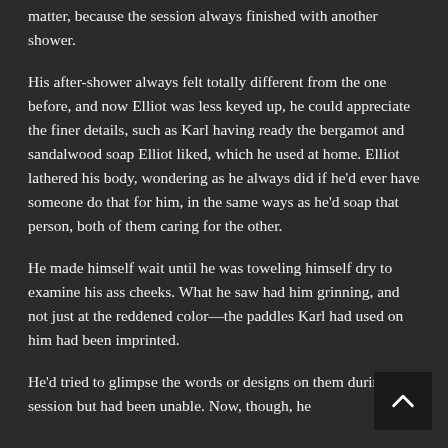matter, because the session always finished with another shower.
His after-shower always felt totally different from the one before, and now Elliot was less keyed up, he could appreciate the finer details, such as Karl having ready the bergamot and sandalwood soap Elliot liked, which he used at home. Elliot lathered his body, wondering as he always did if he'd ever have someone do that for him, in the same ways as he'd soap that person, both of them caring for the other.
He made himself wait until he was toweling himself dry to examine his ass cheeks. What he saw had him grinning, and not just at the reddened color—the paddles Karl had used on him had been imprinted.
He'd tried to glimpse the words or designs on them during the session but had been unable. Now, though, he